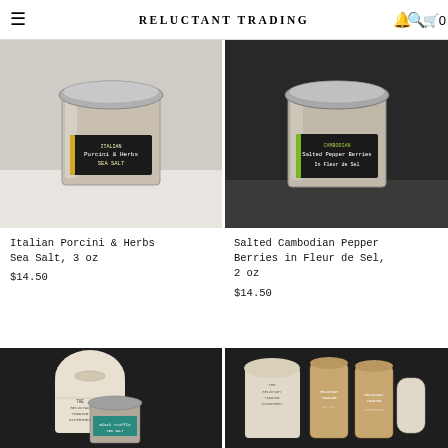RELUCTANT TRADING
[Figure (photo): Glass jar with metal lid containing Italian Porcini & Herbs Sea Salt with a dark label, on white background]
[Figure (photo): Glass jar with metal lid containing Salted Cambodian Pepper Berries in Fleur de Sel with a dark label, on dark background]
Italian Porcini & Herbs Sea Salt, 3 oz
$14.50
Salted Cambodian Pepper Berries in Fleur de Sel, 2 oz
$14.50
[Figure (photo): Reluctant Trading Experiment bag with glass jar of Black Truffle Sea Salt on dark background]
[Figure (photo): Reluctant Trading Assortment with cylindrical kraft tubes and linen bag on dark background]